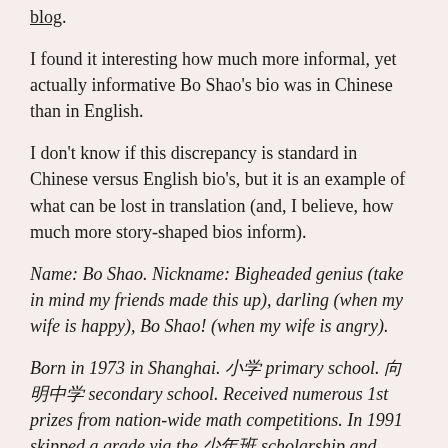blog.
I found it interesting how much more informal, yet actually informative Bo Shao's bio was in Chinese than in English.
I don't know if this discrepancy is standard in Chinese versus English bio's, but it is an example of what can be lost in translation (and, I believe, how much more story-shaped bios inform).
Name: Bo Shao. Nickname: Bigheaded genius (take in mind my friends made this up), darling (when my wife is happy), Bo Shao! (when my wife is angry).
Born in 1973 in Shanghai. 小学 primary school. 向明中学 secondary school. Received numerous 1st prizes from nation-wide math competitions. In 1991 skipped a grade via the 少年班 scholarship and enrolled in Harvard, supposedly the first student to do so after